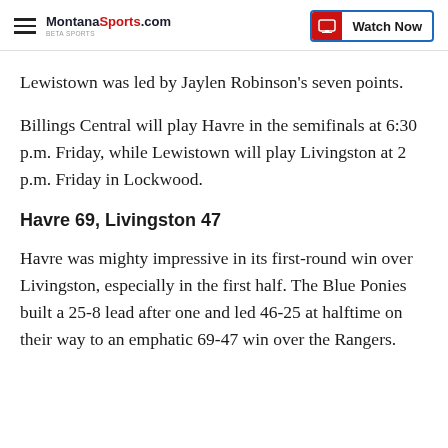MontanaSports.com | Watch Now
Lewistown was led by Jaylen Robinson's seven points.
Billings Central will play Havre in the semifinals at 6:30 p.m. Friday, while Lewistown will play Livingston at 2 p.m. Friday in Lockwood.
Havre 69, Livingston 47
Havre was mighty impressive in its first-round win over Livingston, especially in the first half. The Blue Ponies built a 25-8 lead after one and led 46-25 at halftime on their way to an emphatic 69-47 win over the Rangers.